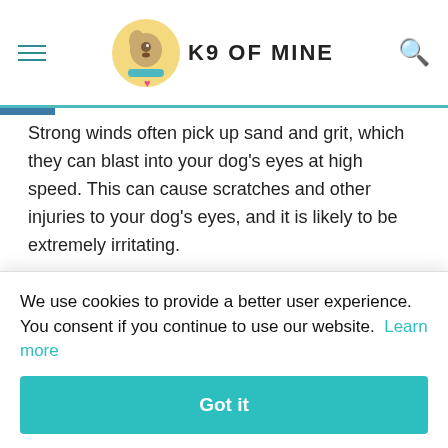K9 OF MINE
Strong winds often pick up sand and grit, which they can blast into your dog's eyes at high speed. This can cause scratches and other injuries to your dog's eyes, and it is likely to be extremely irritating.
Whenever hanging out or playing in dusty or sandy areas – even if it isn't windy right now. All it takes is one sudden gust of wind to levitate a bunch of beach sand into your dog's eyes.
We use cookies to provide a better user experience. You consent if you continue to use our website. Learn more
Got it
swampy or wet areas, such as often occur after strong